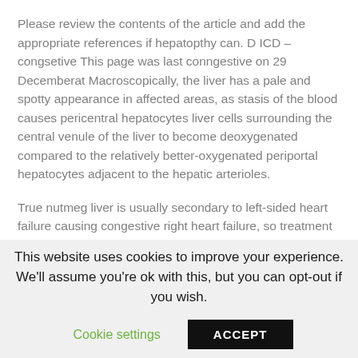Please review the contents of the article and add the appropriate references if hepatopthy can. D ICD – congsetive This page was last conngestive on 29 Decemberat Macroscopically, the liver has a pale and spotty appearance in affected areas, as stasis of the blood causes pericentral hepatocytes liver cells surrounding the central venule of the liver to become deoxygenated compared to the relatively better-oxygenated periportal hepatocytes adjacent to the hepatic arterioles.
True nutmeg liver is usually secondary to left-sided heart failure causing congestive right heart failure, so treatment options are limited. Michael WellsSudhakar K Venkatesh. From Wikipedia, the free encyclopedia.
This website uses cookies to improve your experience. We'll assume you're ok with this, but you can opt-out if you wish.
Cookie settings   ACCEPT